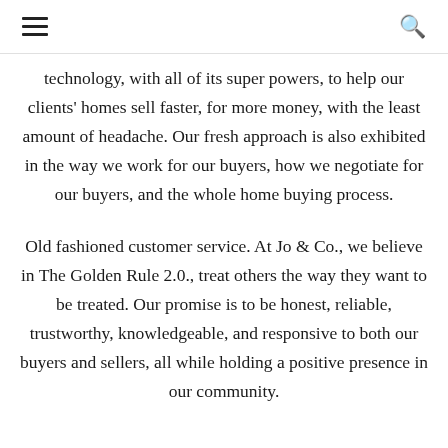technology, with all of its super powers, to help our clients' homes sell faster, for more money, with the least amount of headache. Our fresh approach is also exhibited in the way we work for our buyers, how we negotiate for our buyers, and the whole home buying process.
Old fashioned customer service. At Jo & Co., we believe in The Golden Rule 2.0., treat others the way they want to be treated. Our promise is to be honest, reliable, trustworthy, knowledgeable, and responsive to both our buyers and sellers, all while holding a positive presence in our community.